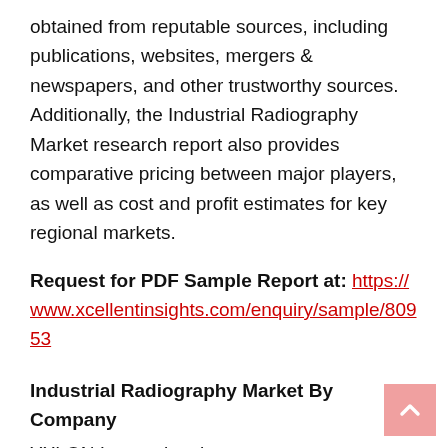obtained from reputable sources, including publications, websites, mergers & newspapers, and other trustworthy sources. Additionally, the Industrial Radiography Market research report also provides comparative pricing between major players, as well as cost and profit estimates for key regional markets.
Request for PDF Sample Report at: https://www.xcellentinsights.com/enquiry/sample/80953
Industrial Radiography Market By Company
YXLON International
DanDong Huari